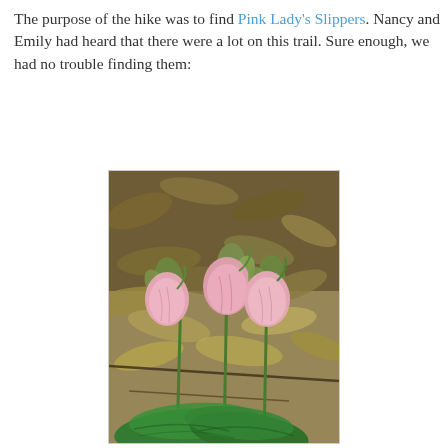The purpose of the hike was to find Pink Lady's Slippers. Nancy and Emily had heard that there were a lot on this trail. Sure enough, we had no trouble finding them:
[Figure (photo): Photograph of Pink Lady's Slipper orchid flowers (Cypripedium acaule) in a natural woodland setting. Three pink pouch-like blooms on green stems with broad green leaves at the base, surrounded by fallen autumn leaves on the forest floor.]